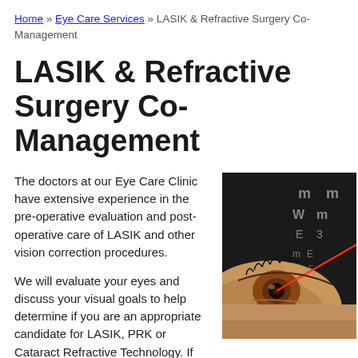Home » Eye Care Services » LASIK & Refractive Surgery Co-Management
LASIK & Refractive Surgery Co-Management
The doctors at our Eye Care Clinic have extensive experience in the pre-operative evaluation and post-operative care of LASIK and other vision correction procedures.
[Figure (photo): Close-up photo of a human eye with a red laser beam aimed at it, with an eye chart visible in the background]
We will evaluate your eyes and discuss your visual goals to help determine if you are an appropriate candidate for LASIK, PRK or Cataract Refractive Technology. If you have appropriate goals and there are no contraindications for the procedure, we will recommend a pre-operative evaluation to determine suitability for refractive surgery. This evaluation